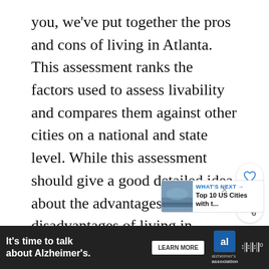you, we've put together the pros and cons of living in Atlanta. This assessment ranks the factors used to assess livability and compares them against other cities on a national and state level. While this assessment should give a good detailed idea about the advantages and disadvantages of living in Atlanta, it might not incorporate all areas that might appeal to some people.
Since moving to a new city can be a bi… Hopefully, this evaluation will help you in your ca…